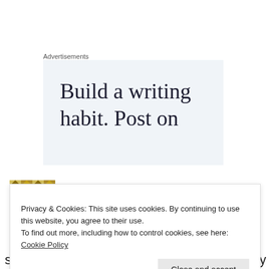Advertisements
[Figure (other): Advertisement banner with text 'Build a writing habit. Post on' on a light blue-grey background]
Cass
Privacy & Cookies: This site uses cookies. By continuing to use this website, you agree to their use.
To find out more, including how to control cookies, see here: Cookie Policy
Close and accept
still love reading your blogs, I get ridiculously excited